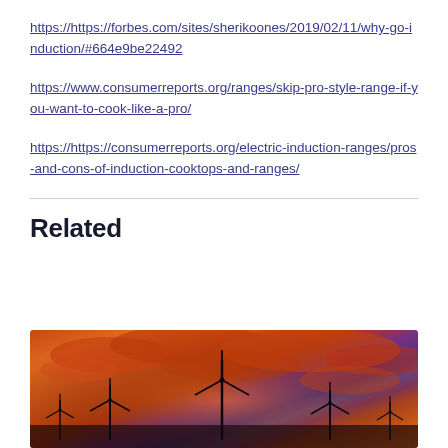https://https://forbes.com/sites/sherikoones/2019/02/11/why-go-induction/#664e9be22492
https://www.consumerreports.org/ranges/skip-pro-style-range-if-you-want-to-cook-like-a-pro/
https://https://consumerreports.org/electric-induction-ranges/pros-and-cons-of-induction-cooktops-and-ranges/
Related
[Figure (photo): Wind turbines silhouetted against a dramatic orange and red sunset sky with clouds]